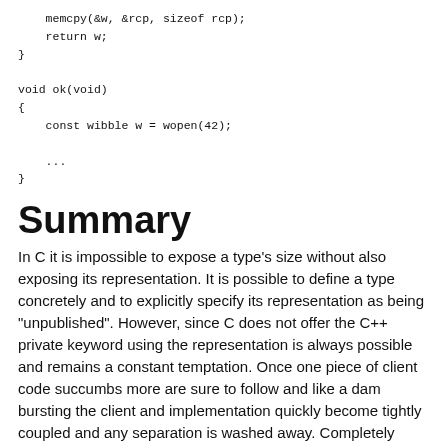memcpy(&w, &rcp, sizeof rcp);
    return w;
}

void ok(void)
{
    const wibble w = wopen(42);

    ...
}
Summary
In C it is impossible to expose a type's size without also exposing its representation. It is possible to define a type concretely and to explicitly specify its representation as being "unpublished". However, since C does not offer the C++ private keyword using the representation is always possible and remains a constant temptation. Once one piece of client code succumbs more are sure to follow and like a dam bursting the client and implementation quickly become tightly coupled and any separation is washed away. Completely hiding a type's representation behind an opaque pointer/handle removes the temptation and creates a powerful abstraction but at the price of hiding the size of the type and the consequent restriction on the storage class of